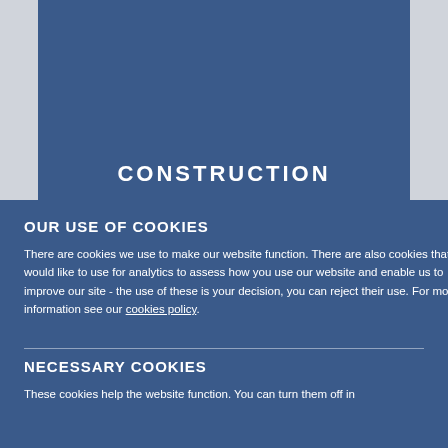[Figure (other): Dark blue construction banner with the word CONSTRUCTION in large white bold uppercase letters, flanked by grey side panels.]
OUR USE OF COOKIES
There are cookies we use to make our website function. There are also cookies that we would like to use for analytics to assess how you use our website and enable us to improve our site - the use of these is your decision, you can reject their use. For more information see our cookies policy.
NECESSARY COOKIES
These cookies help the website function. You can turn them off in